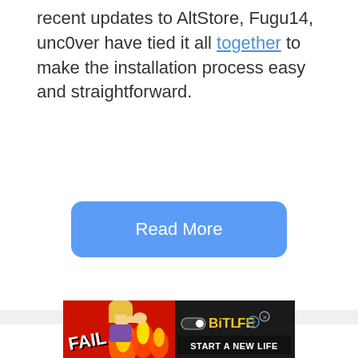recent updates to AltStore, Fugu14, unc0ver have tied it all together to make the installation process easy and straightforward.
[Figure (other): A blue rounded rectangle button labeled 'Read More']
[Figure (other): BitLife advertisement banner with 'FAIL' text, animated character, flames, and 'START A NEW LIFE' tagline on dark background]